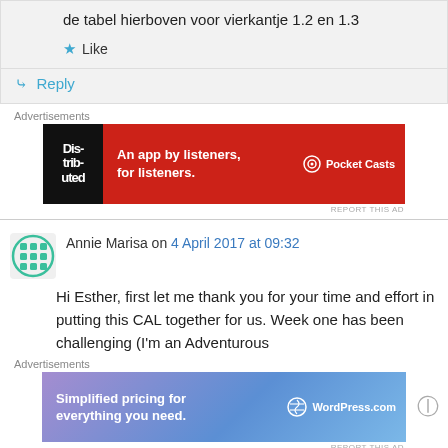de tabel hierboven voor vierkantje 1.2 en 1.3
Like
Reply
[Figure (screenshot): Pocket Casts advertisement banner: red background, phone graphic, text 'An app by listeners, for listeners.' and Pocket Casts logo]
REPORT THIS AD
Annie Marisa on 4 April 2017 at 09:32
Hi Esther, first let me thank you for your time and effort in putting this CAL together for us. Week one has been challenging (I'm an Adventurous
[Figure (screenshot): WordPress.com advertisement banner: gradient purple-blue background, text 'Simplified pricing for everything you need.' and WordPress.com logo]
REPORT THIS AD